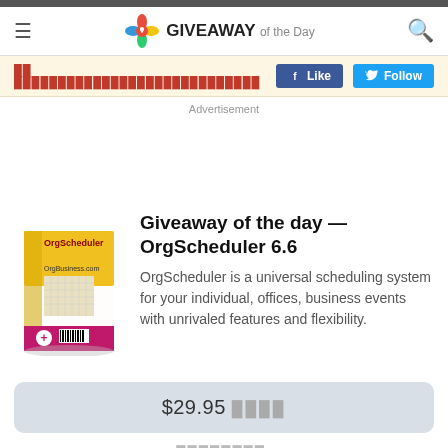GIVEAWAY of the Day
Like  Follow
Advertisement
Giveaway of the day — OrgScheduler 6.6
OrgScheduler is a universal scheduling system for your individual, offices, business events with unrivaled features and flexibility.
$29.95 ████
████████: